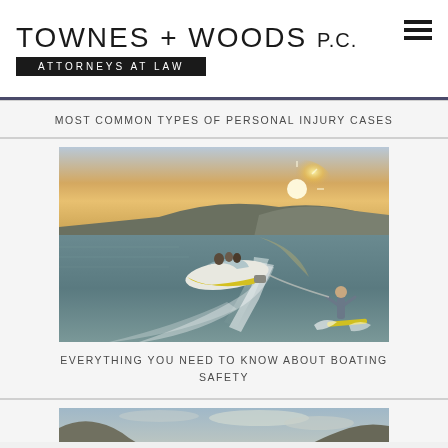TOWNES + WOODS P.C. ATTORNEYS AT LAW
MOST COMMON TYPES OF PERSONAL INJURY CASES
[Figure (photo): Aerial/elevated view of a motorboat on open water with a wake boarder behind it, sunset in background with hills. People visible on the boat.]
EVERYTHING YOU NEED TO KNOW ABOUT BOATING SAFETY
[Figure (photo): Partial view of another article image — rocky cliffs and cloudy sky, partially visible at the bottom of the page.]